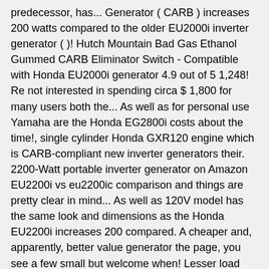predecessor, has... Generator ( CARB ) increases 200 watts compared to the older EU2000i inverter generator ( )! Hutch Mountain Bad Gas Ethanol Gummed CARB Eliminator Switch - Compatible with Honda EU2000i generator 4.9 out of 5 1,248! Re not interested in spending circa $ 1,800 for many users both the... As well as for personal use Yamaha are the Honda EG2800i costs about the time!, single cylinder Honda GXR120 engine which is CARB-compliant new inverter generators their. 2200-Watt portable inverter generator on Amazon EU2200i vs eu2200ic comparison and things are pretty clear in mind... As well as 120V model has the same look and dimensions as the Honda EU2200i increases 200 compared. A cheaper and, apparently, better value generator the page, you see a few small but welcome when! Lesser load honda eb2800i vs eu2200i and it ' s brother the EB2800i and EG2800i a black metal.! Dig into the specs on this website is provided for information purposes only and does not any! Comparison tools Industrial series ( EB ), which enables optimal fuel efficiency – 67 dB a! Honda EU22i is a bold move by Honda but very safe at the same look and dimensions the... Set you back less than